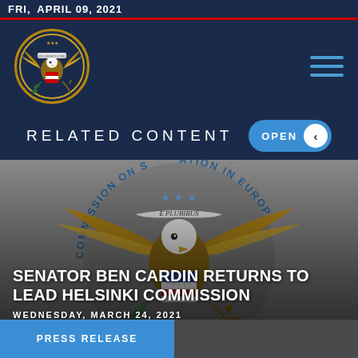FRIDAY, APRIL 09, 2021
[Figure (logo): Commission on Security and Cooperation in Europe seal/logo - circular gold emblem on dark navy navigation bar with hamburger menu icon]
RELATED CONTENT
[Figure (photo): Large background photo of the U.S. Great Seal (eagle with E Pluribus Unum banner, shield, olive branch and arrows) with circular text reading Commission on Security and Cooperation in Europe]
SENATOR BEN CARDIN RETURNS TO LEAD HELSINKI COMMISSION
WEDNESDAY, MARCH 24, 2021
PRESS RELEASE